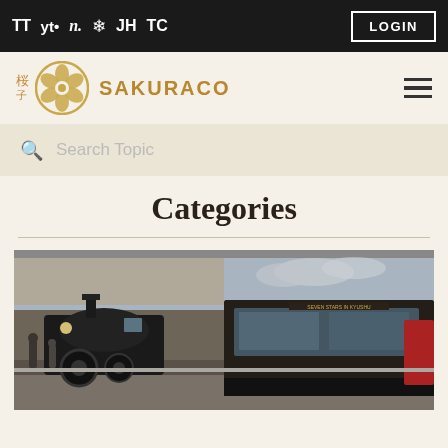TT yt• n. ❄ JH TC | LOGIN
[Figure (logo): Sakuraco logo with stylized flower emblem and brand name SAKURACO in gold]
Search Topic
Categories
[Figure (photo): Two trains at a station platform: a vintage black steam locomotive on the left and a modern luxury dark-colored train on the right, photographed at a covered railway station]